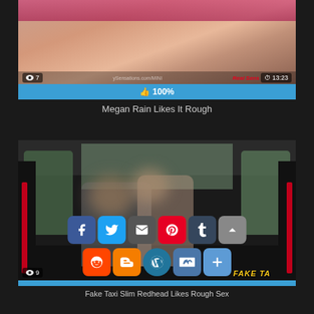[Figure (screenshot): Video thumbnail showing adult content, with view count badge showing 7 views, watermark text, brand logo, and duration 13:23]
100%
Megan Rain Likes It Rough
[Figure (screenshot): Video thumbnail showing interior of a taxi cab with two people, faces blurred, with social share icons overlay (Facebook, Twitter, Email, Pinterest, Tumblr, scroll-up, Reddit, Blogger, WordPress, VK, More) and Fake Taxi watermark logo, view count 9]
Fake Taxi Slim Redhead Likes Rough Sex